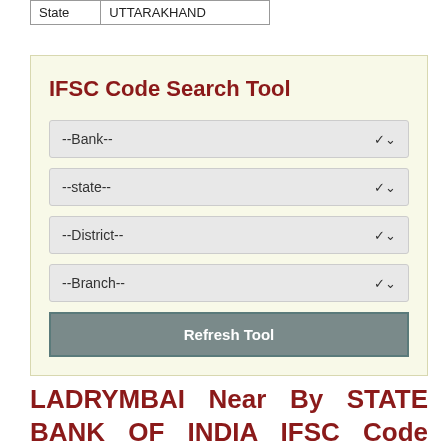| State | UTTARAKHAND |
IFSC Code Search Tool
[Figure (screenshot): IFSC Code Search Tool widget with four dropdowns: Bank, State, District, Branch, and a Refresh Tool button]
LADRYMBAI Near By STATE BANK OF INDIA IFSC Code